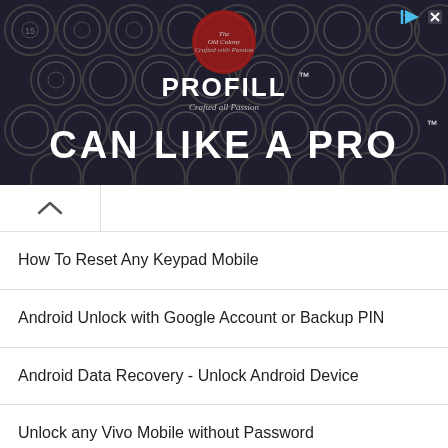[Figure (screenshot): Advertisement banner for PROFILL 'CAN LIKE A PRO' product showing dark background with circular can lids, a red circular badge logo, PROFILL brand name, and large white text 'CAN LIKE A PRO' with close/play icons]
How To Reset Any Keypad Mobile
Android Unlock with Google Account or Backup PIN
Android Data Recovery - Unlock Android Device
Unlock any Vivo Mobile without Password
Android Device Manager - Google Find My Device
Unlock Oppo A15 - Forgot Password
Unlock Vivo Y11 (2019) - Forgot Password